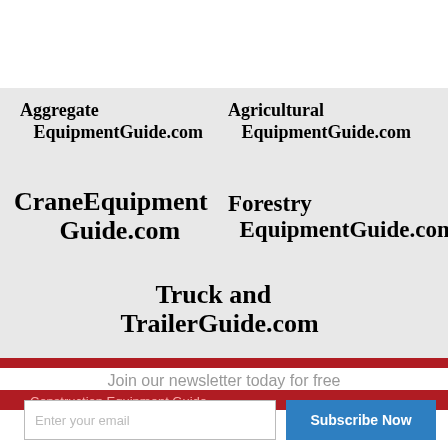[Figure (logo): AggregateEquipmentGuide.com logo text in bold serif font]
[Figure (logo): AgriculturalEquipmentGuide.com logo text in bold serif font]
[Figure (logo): CraneEquipmentGuide.com logo text in bold serif font]
[Figure (logo): ForestryEquipmentGuide.com logo text in bold serif font]
[Figure (logo): TruckandTrailerGuide.com logo text in bold serif font]
Our Main Office
Construction Equipment Guide
Join our newsletter today for free